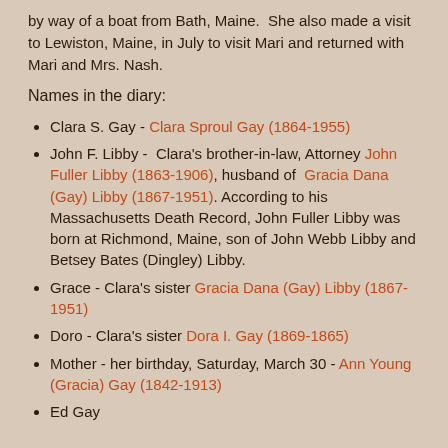by way of a boat from Bath, Maine.  She also made a visit to Lewiston, Maine, in July to visit Mari and returned with Mari and Mrs. Nash.
Names in the diary:
Clara S. Gay - Clara Sproul Gay (1864-1955)
John F. Libby - Clara's brother-in-law, Attorney John Fuller Libby (1863-1906), husband of Gracia Dana (Gay) Libby (1867-1951). According to his Massachusetts Death Record, John Fuller Libby was born at Richmond, Maine, son of John Webb Libby and Betsey Bates (Dingley) Libby.
Grace - Clara's sister Gracia Dana (Gay) Libby (1867-1951)
Doro - Clara's sister Dora I. Gay (1869-1865)
Mother - her birthday, Saturday, March 30 - Ann Young (Gracia) Gay (1842-1913)
Ed Gay